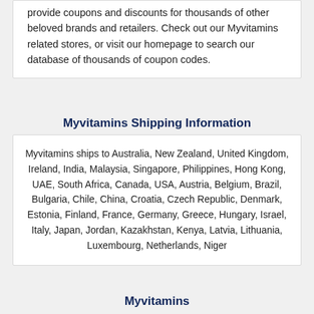provide coupons and discounts for thousands of other beloved brands and retailers. Check out our Myvitamins related stores, or visit our homepage to search our database of thousands of coupon codes.
Myvitamins Shipping Information
Myvitamins ships to Australia, New Zealand, United Kingdom, Ireland, India, Malaysia, Singapore, Philippines, Hong Kong, UAE, South Africa, Canada, USA, Austria, Belgium, Brazil, Bulgaria, Chile, China, Croatia, Czech Republic, Denmark, Estonia, Finland, France, Germany, Greece, Hungary, Israel, Italy, Japan, Jordan, Kazakhstan, Kenya, Latvia, Lithuania, Luxembourg, Netherlands, Niger
Myvitamins